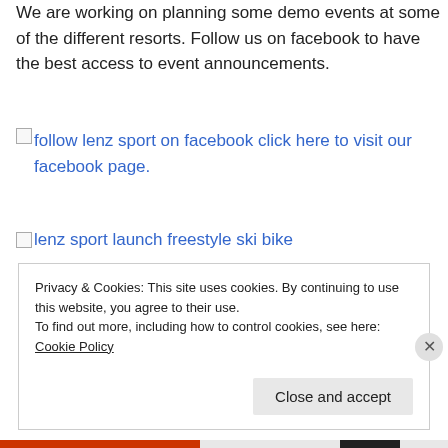We are working on planning some demo events at some of the different resorts. Follow us on facebook to have the best access to event announcements.
[Figure (other): Broken image placeholder with link text: follow lenz sport on facebook click here to visit our facebook page.]
[Figure (other): Broken image placeholder with alt text: lenz sport launch freestyle ski bike]
Privacy & Cookies: This site uses cookies. By continuing to use this website, you agree to their use.
To find out more, including how to control cookies, see here: Cookie Policy
Close and accept